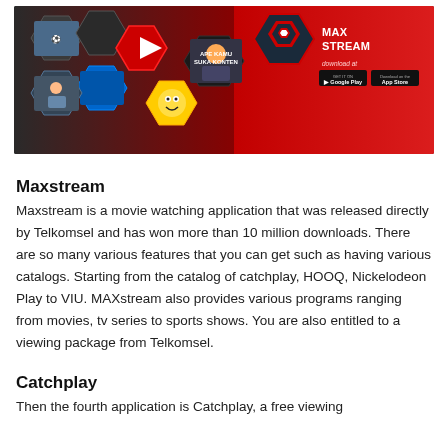[Figure (photo): Maxstream promotional banner showing hexagonal tiles with movie/TV thumbnails including SpongeBob, sports, and movie images on a dark red/black background. The Maxstream logo with a hexagonal icon appears on the right side, along with Google Play and App Store download buttons.]
Maxstream
Maxstream is a movie watching application that was released directly by Telkomsel and has won more than 10 million downloads. There are so many various features that you can get such as having various catalogs. Starting from the catalog of catchplay, HOOQ, Nickelodeon Play to VIU. MAXstream also provides various programs ranging from movies, tv series to sports shows. You are also entitled to a viewing package from Telkomsel.
Catchplay
Then the fourth application is Catchplay, a free viewing